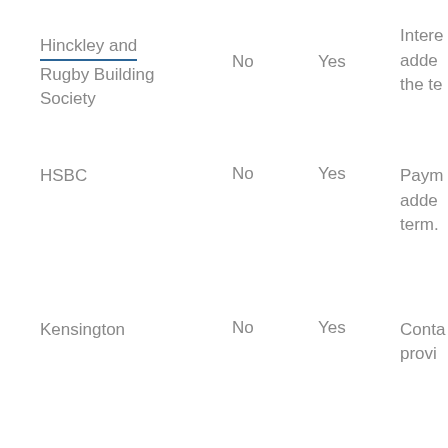| Lender | Column2 | Column3 | Details |
| --- | --- | --- | --- |
|  |  |  | later i |
| Hinckley and Rugby Building Society | No | Yes | Intere added the te |
| HSBC | No | Yes | Paym added term. |
| Kensington | No | Yes | Conta provi |